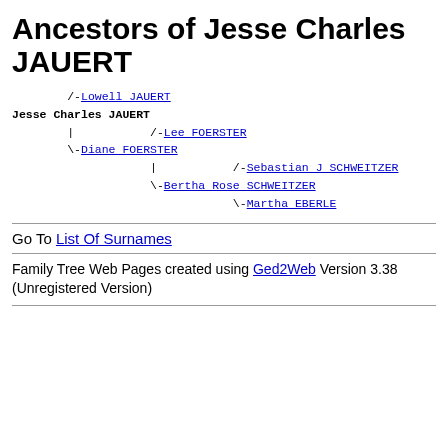Ancestors of Jesse Charles JAUERT
[Figure (other): Ancestors tree diagram showing: /-Lowell JAUERT, Jesse Charles JAUERT, | /-Lee FOERSTER, \-Diane FOERSTER, | /-Sebastian J SCHWEITZER, \-Bertha Rose SCHWEITZER, \-Martha EBERLE]
Go To List Of Surnames
Family Tree Web Pages created using Ged2Web Version 3.38 (Unregistered Version)